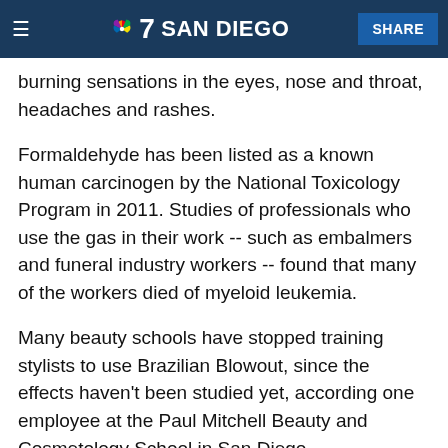7 SAN DIEGO | SHARE
in the short term, they can irritate the heating ca... burning sensations in the eyes, nose and throat, headaches and rashes.
Formaldehyde has been listed as a known human carcinogen by the National Toxicology Program in 2011. Studies of professionals who use the gas in their work -- such as embalmers and funeral industry workers -- found that many of the workers died of myeloid leukemia.
Many beauty schools have stopped training stylists to use Brazilian Blowout, since the effects haven't been studied yet, according one employee at the Paul Mitchell Beauty and Cosmetology School in San Diego.
Some salons began requiring their stylists and clients wear